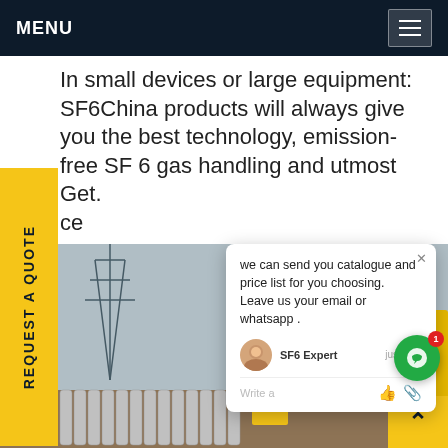MENU
In small devices or large equipment: SF6China products will always give you the best technology, emission-free SF 6 gas handling and utmost Get ce
REQUEST A QUOTE
[Figure (photo): Industrial SF6 gas handling equipment: yellow service truck and gas cylinders at an electrical substation with transmission towers in background. A worker in blue hard hat is visible.]
we can send you catalogue and price list for you choosing. Leave us your email or whatsapp .
SF6 Expert   just now
Write a